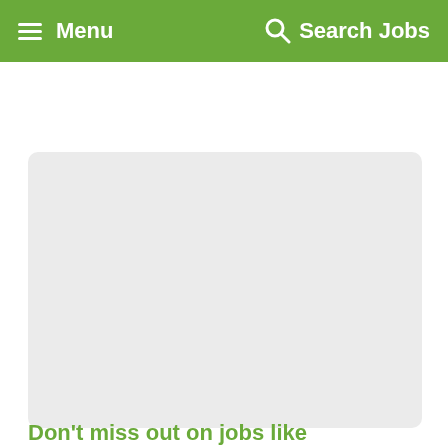Menu   Search Jobs
[Figure (other): Light gray placeholder card/image area]
Don't miss out on jobs like